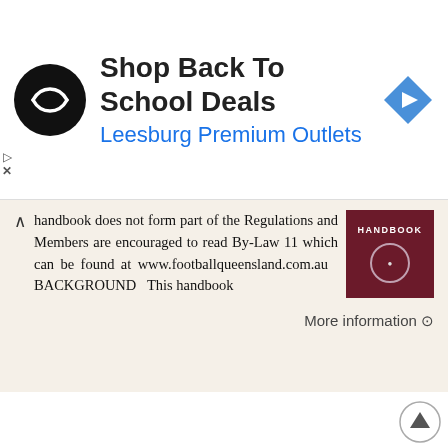[Figure (other): Advertisement banner: circular black logo with double arrow symbol, heading 'Shop Back To School Deals', subtitle 'Leesburg Premium Outlets', blue diamond navigation icon on right]
handbook does not form part of the Regulations and Members are encouraged to read By-Law 11 which can be found at www.footballqueensland.com.au BACKGROUND This handbook
[Figure (photo): Thumbnail image of a handbook cover with dark red/maroon background and text 'HANDBOOK']
More information ⊙
107 If I have the proofs DTA wanted, should I still ask for a hearing?
Part 6 Appeal Rights 106 What are my rights if DTA denies, cuts or stops my SNAP? If DTA denies your SNAP benefits or stops or lowers your benefits, you can ask for a fair hearing. A fair hearing, or an
[Figure (screenshot): Thumbnail image with green icon and text '107 If I have the proofs DTA wanted.']